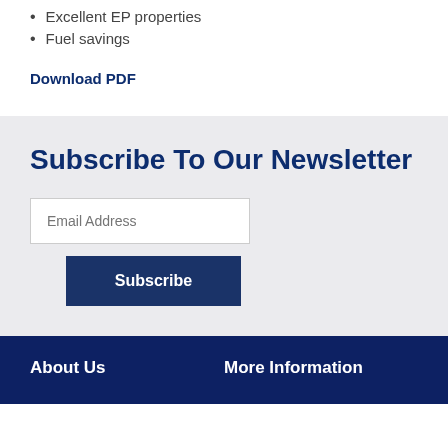Excellent EP properties
Fuel savings
Download PDF
Subscribe To Our Newsletter
Email Address
Subscribe
About Us   More Information